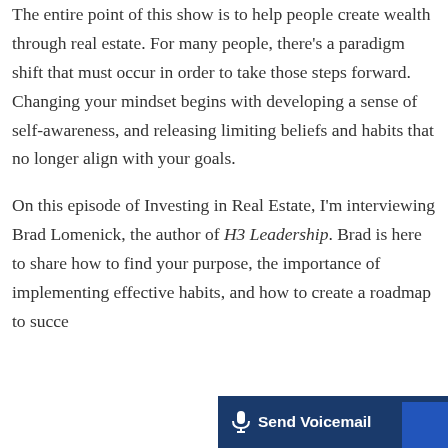The entire point of this show is to help people create wealth through real estate. For many people, there's a paradigm shift that must occur in order to take those steps forward. Changing your mindset begins with developing a sense of self-awareness, and releasing limiting beliefs and habits that no longer align with your goals.
On this episode of Investing in Real Estate, I'm interviewing Brad Lomenick, the author of H3 Leadership. Brad is here to share how to find your purpose, the importance of implementing effective habits, and how to create a roadmap to success. This is episode 218 of Investing in Real Estate!